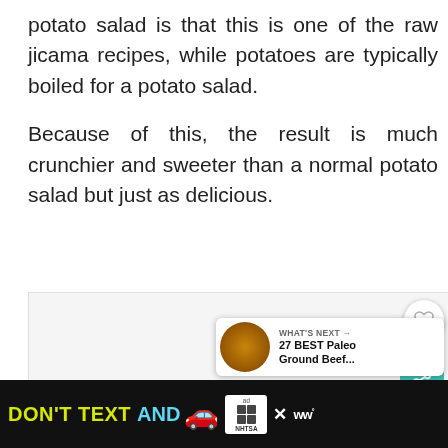potato salad is that this is one of the raw jicama recipes, while potatoes are typically boiled for a potato salad.
Because of this, the result is much crunchier and sweeter than a normal potato salad but just as delicious.
[Figure (photo): Image area (light gray placeholder) with UI overlay elements: heart/like button, share bubble with count 2, and a 'What's Next' card showing '27 BEST Paleo Ground Beef...' with a food thumbnail]
[Figure (screenshot): Advertisement bar at bottom: black background with yellow 'DON'T TEXT' and cyan 'AND' text, red car emoji, ad badge with NHTSA logo, close button, and WW logo]